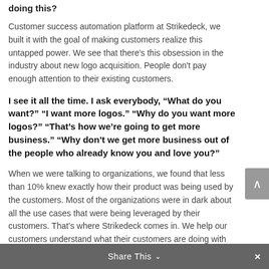doing this?
Customer success automation platform at Strikedeck, we built it with the goal of making customers realize this untapped power. We see that there's this obsession in the industry about new logo acquisition. People don't pay enough attention to their existing customers.
I see it all the time. I ask everybody, “What do you want?” “I want more logos.” “Why do you want more logos?” “That’s how we’re going to get more business.” “Why don’t we get more business out of the people who already know you and love you?”
When we were talking to organizations, we found that less than 10% knew exactly how their product was being used by the customers. Most of the organizations were in dark about all the use cases that were being leveraged by their customers. That’s where Strikedeck comes in. We help our customers understand what their customers are doing with
Share This